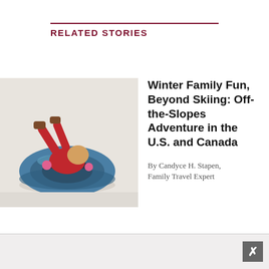RELATED STORIES
[Figure (photo): Child lying in a blue inflatable snow tube on a snowy slope, wearing red winter clothing and boots, viewed from behind/above.]
Winter Family Fun, Beyond Skiing: Off-the-Slopes Adventure in the U.S. and Canada
By Candyce H. Stapen, Family Travel Expert